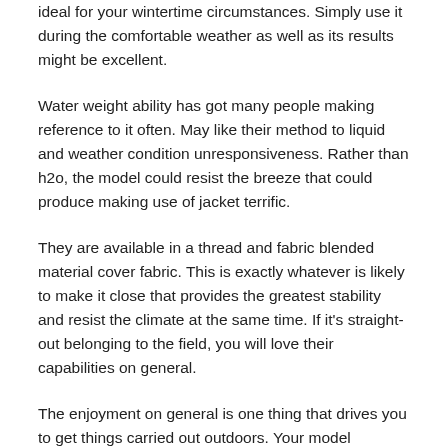ideal for your wintertime circumstances. Simply use it during the comfortable weather as well as its results might be excellent.
Water weight ability has got many people making reference to it often. May like their method to liquid and weather condition unresponsiveness. Rather than h2o, the model could resist the breeze that could produce making use of jacket terrific.
They are available in a thread and fabric blended material cover fabric. This is exactly whatever is likely to make it close that provides the greatest stability and resist the climate at the same time. If it's straight-out belonging to the field, you will love their capabilities on general.
The enjoyment on general is one thing that drives you to get things carried out outdoors. Your model characteristics all shell fabric plus much pile liner. This will make it feasible for you to definitely feel good about by using the product establishing here. The heat retaining material excellent compared to some covered